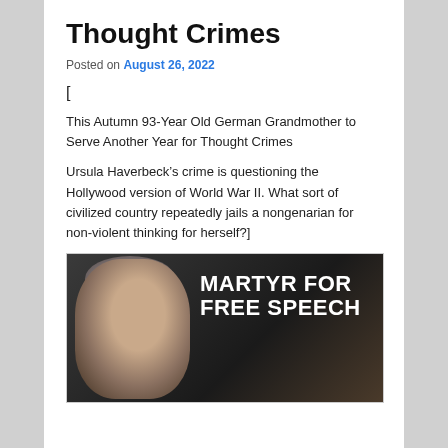Thought Crimes
Posted on August 26, 2022
[
This Autumn 93-Year Old German Grandmother to Serve Another Year for Thought Crimes
Ursula Haverbeck’s crime is questioning the Hollywood version of World War II. What sort of civilized country repeatedly jails a nongenarian for non-violent thinking for herself?]
[Figure (photo): Photo of an elderly woman with white hair, overlaid with bold white text reading 'MARTYR FOR FREE SPEECH' on a dark background]